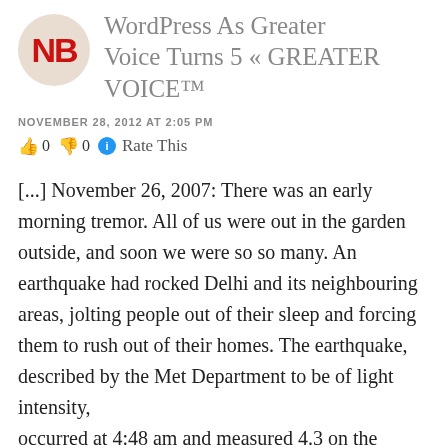WordPress As Greater Voice Turns 5 « GREATER VOICE™
NOVEMBER 28, 2012 AT 2:05 PM
👍 0 👎 0 ℹ Rate This
[...] November 26, 2007: There was an early morning tremor. All of us were out in the garden outside, and soon we were so so many. An earthquake had rocked Delhi and its neighbouring areas, jolting people out of their sleep and forcing them to rush out of their homes. The earthquake, described by the Met Department to be of light intensity, occurred at 4:48 am and measured 4.3 on the Richter